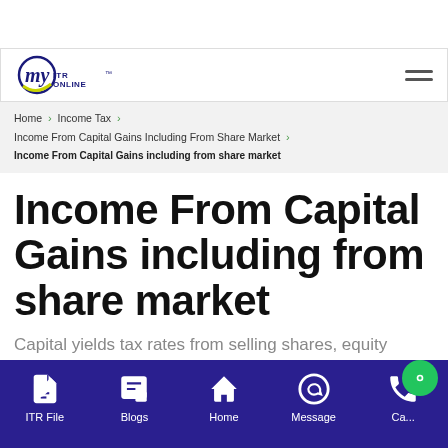[Figure (logo): myITRONLINE logo with circular graphic and text]
Home > Income Tax > Income From Capital Gains Including From Share Market > Income From Capital Gains including from share market
Income From Capital Gains including from share market
Capital yields tax rates from selling shares, equity
ITR File | Blogs | Home | Message | Ca...